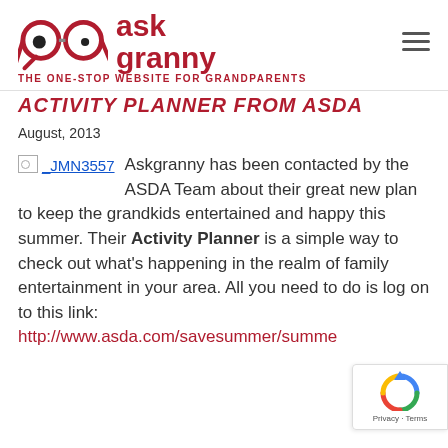ask granny — THE ONE-STOP WEBSITE FOR GRANDPARENTS
ACTIVITY PLANNER FROM ASDA
August, 2013
Askgranny has been contacted by the ASDA Team about their great new plan to keep the grandkids entertained and happy this summer. Their Activity Planner is a simple way to check out what's happening in the realm of family entertainment in your area. All you need to do is log on to this link: http://www.asda.com/savesummer/summe…
[Figure (logo): Ask Granny logo with red glasses and text 'ask granny']